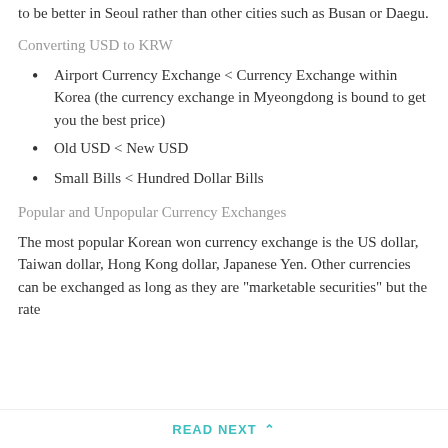to be better in Seoul rather than other cities such as Busan or Daegu.
Converting USD to KRW
Airport Currency Exchange < Currency Exchange within Korea (the currency exchange in Myeongdong is bound to get you the best price)
Old USD < New USD
Small Bills < Hundred Dollar Bills
Popular and Unpopular Currency Exchanges
The most popular Korean won currency exchange is the US dollar, Taiwan dollar, Hong Kong dollar, Japanese Yen. Other currencies can be exchanged as long as they are "marketable securities" but the rate
READ NEXT